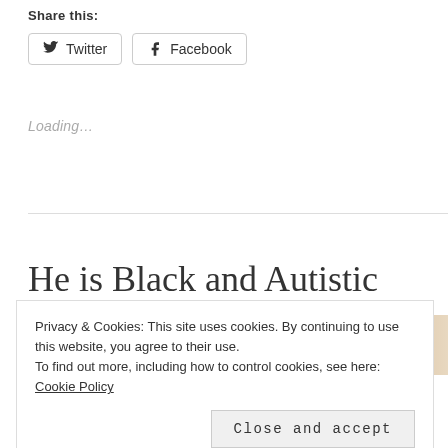Share this:
Twitter  Facebook
Loading…
He is Black and Autistic
[Figure (photo): Partial photo strip showing faces, cropped at top of image]
Privacy & Cookies: This site uses cookies. By continuing to use this website, you agree to their use.
To find out more, including how to control cookies, see here: Cookie Policy
Close and accept